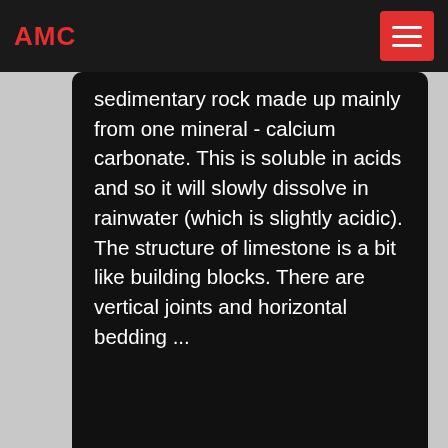AMC
sedimentary rock made up mainly from one mineral - calcium carbonate. This is soluble in acids and so it will slowly dissolve in rainwater (which is slightly acidic). The structure of limestone is a bit like building blocks. There are vertical joints and horizontal bedding ...
STRENGTH PROPERTIES OF ROCKS AND ROCK MASSES ...
2006-3-19 · In general, compared to intact rock, a rock mass has reduced tensile strength (almost zero), and reduced shear strength especi ally along discontinuity planes. Furthermore, if a